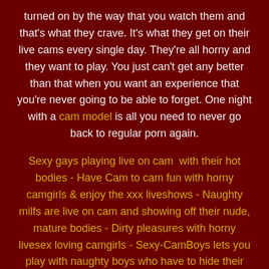turned on by the way that you watch them and that's what they crave. It's what they get on their live cams every single day. They're all horny and they want to play. You just can't get any better than that when you want an experience that you're never going to be able to forget. One night with a cam model is all you need to never go back to regular porn again.
Sexy gays playing live on cam  with their hot bodies - Have Cam to cam fun with horny camgirls & enjoy the xxx liveshows - Naughty milfs are live on cam and showing off their nude, mature bodies - Dirty pleasures with horny livesex loving camgirls - Sexy-CamBoys lets you play with naughty boys who have to hide their love of stiff cock and